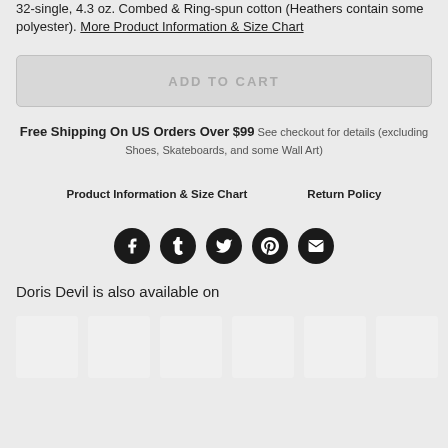32-single, 4.3 oz. Combed & Ring-spun cotton (Heathers contain some polyester). More Product Information & Size Chart
ADD TO CART
Free Shipping On US Orders Over $99 See checkout for details (excluding Shoes, Skateboards, and some Wall Art)
Product Information & Size Chart    Return Policy
[Figure (infographic): Row of 5 social media icons: Facebook, Tumblr, Twitter, Pinterest, Email — all dark circular buttons]
Doris Devil is also available on
[Figure (infographic): Row of 6 placeholder thumbnail images for other available products]